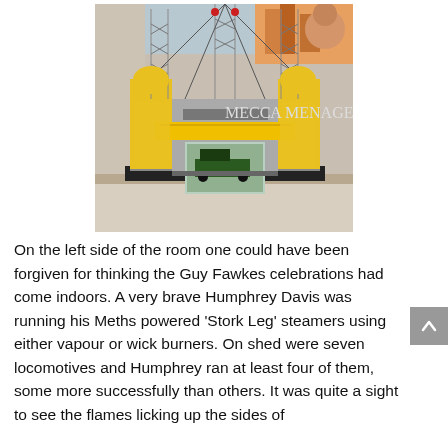[Figure (photo): A Meccano model of a decorative building/fairground structure with yellow panels, metal lattice towers, red lights at the top, and an inset picture of a steam locomotive at the front. The model sits on a black base on a table, with toys visible in the background.]
On the left side of the room one could have been forgiven for thinking the Guy Fawkes celebrations had come indoors. A very brave Humphrey Davis was running his Meths powered ‘Stork Leg’ steamers using either vapour or wick burners. On shed were seven locomotives and Humphrey ran at least four of them, some more successfully than others. It was quite a sight to see the flames licking up the sides of the boilers.